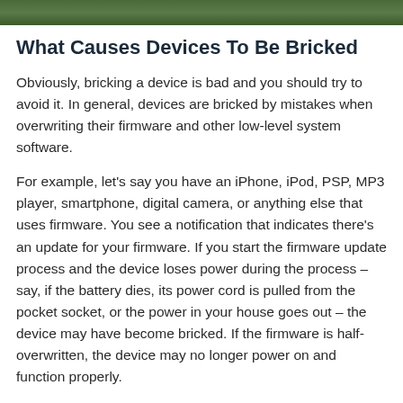[Figure (photo): Green foliage/nature photo strip at the top of the page]
What Causes Devices To Be Bricked
Obviously, bricking a device is bad and you should try to avoid it. In general, devices are bricked by mistakes when overwriting their firmware and other low-level system software.
For example, let's say you have an iPhone, iPod, PSP, MP3 player, smartphone, digital camera, or anything else that uses firmware. You see a notification that indicates there's an update for your firmware. If you start the firmware update process and the device loses power during the process – say, if the battery dies, its power cord is pulled from the pocket socket, or the power in your house goes out – the device may have become bricked. If the firmware is half-overwritten, the device may no longer power on and function properly.
That's why you see messages such as “Do not power the device off” when performing firmware updates. This applies